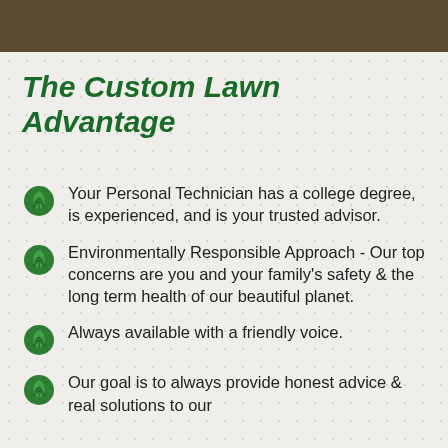The Custom Lawn Advantage
Your Personal Technician has a college degree, is experienced, and is your trusted advisor.
Environmentally Responsible Approach - Our top concerns are you and your family's safety & the long term health of our beautiful planet.
Always available with a friendly voice.
Our goal is to always provide honest advice & real solutions to our